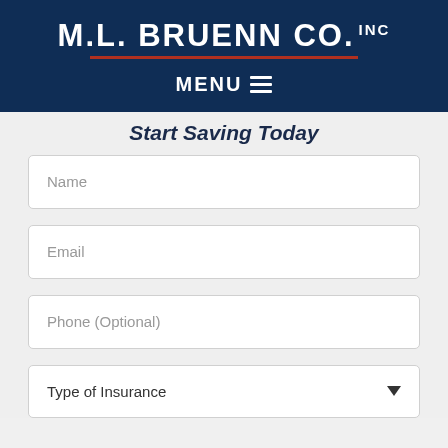M.L. BRUENN CO. INC
MENU
Start Saving Today
Name
Email
Phone (Optional)
Type of Insurance